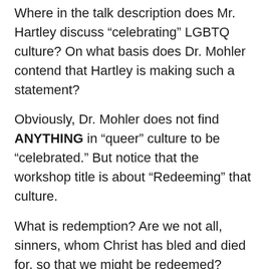Where in the talk description does Mr. Hartley discuss “celebrating” LGBTQ culture? On what basis does Dr. Mohler contend that Hartley is making such a statement?
Obviously, Dr. Mohler does not find ANYTHING in “queer” culture to be “celebrated.” But notice that the workshop title is about “Redeeming” that culture.
What is redemption? Are we not all, sinners, whom Christ has bled and died for, so that we might be redeemed? Including those who label themselves as “queer?”
How is Dr. Mohler defining “redemption” here? I really do not know.
What do I do recognize, that I do not like “queer”...